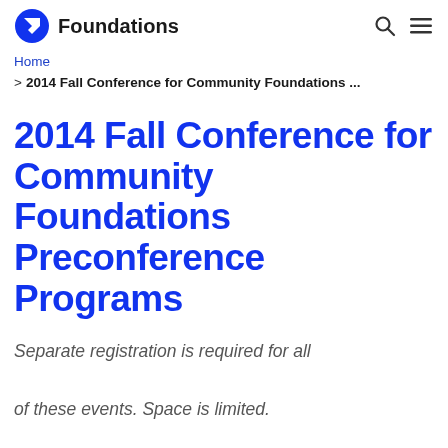Foundations
Home > 2014 Fall Conference for Community Foundations ...
2014 Fall Conference for Community Foundations Preconference Programs
Separate registration is required for all of these events. Space is limited.